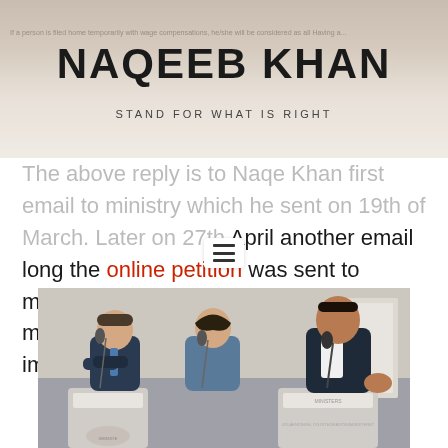NAQEEB KHAN
STAND FOR WHAT IS RIGHT
The above reply is to Naqeeb Khan first email to ministry which he sent on 19th of March. Later on 27th April another email long the online petition was sent to ministry and number of parliament members. Ministry is yet to reply to immigrants online petition.
[Figure (photo): Three people standing at podiums or microphones in a formal press conference setting. On the left is a man in a dark suit with crossed arms. In the center is a woman in a blue/teal jacket. On the right is a man in a dark blazer and white shirt, appearing to speak.]